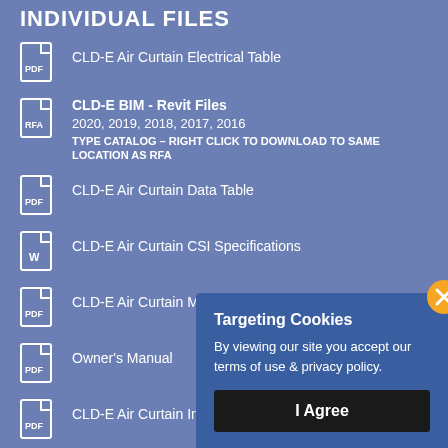INDIVIDUAL FILES
CLD-E Air Curtain Electrical Table
CLD-E BIM - Revit Files
2020, 2019, 2018, 2017, 2016
TYPE CATALOG – RIGHT CLICK TO DOWNLOAD TO SAME LOCATION AS RFA
CLD-E Air Curtain Data Table
CLD-E Air Curtain CSI Specifications
CLD-E Air Curtain M...
Owner's Manual
CLD-E Air Curtain In...stallation
Control Panel
[Figure (screenshot): Cookie consent modal overlay with title 'Targeting Cookies', text 'By viewing our site you accept our terms of use & privacy policy.', an 'I Agree' button, and a close (X) button in orange.]